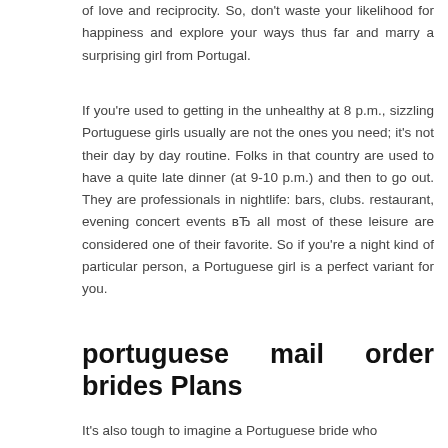of love and reciprocity. So, don't waste your likelihood for happiness and explore your ways thus far and marry a surprising girl from Portugal.
If you're used to getting in the unhealthy at 8 p.m., sizzling Portuguese girls usually are not the ones you need; it's not their day by day routine. Folks in that country are used to have a quite late dinner (at 9-10 p.m.) and then to go out. They are professionals in nightlife: bars, clubs. restaurant, evening concert events вЂ all most of these leisure are considered one of their favorite. So if you're a night kind of particular person, a Portuguese girl is a perfect variant for you.
portuguese mail order brides Plans
It's also tough to imagine a Portuguese bride who